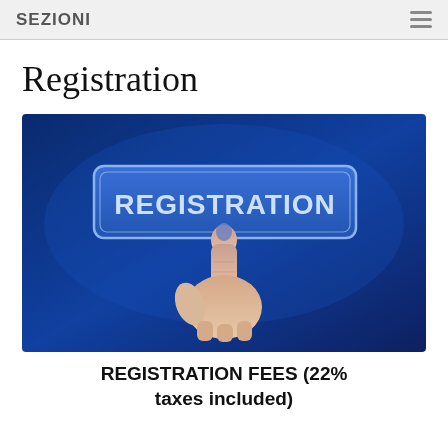SEZIONI
Registration
[Figure (illustration): A hand with index finger pointing upward pressing a blue rectangular button labeled 'REGISTRATION' in white bold text, against a dark blue gradient background.]
REGISTRATION FEES (22% taxes included)